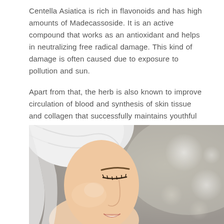Centella Asiatica is rich in flavonoids and has high amounts of Madecassoside. It is an active compound that works as an antioxidant and helps in neutralizing free radical damage. This kind of damage is often caused due to exposure to pollution and sun.
Apart from that, the herb is also known to improve circulation of blood and synthesis of skin tissue and collagen that successfully maintains youthful skin texture and complexion. It also enhances skin elasticity, reduces fine lines and wrinkles, and gives you a younger appearance.
[Figure (photo): A woman with her eyes closed and a white towel wrapped around her head, smiling gently, with a soft blurred background featuring circular bokeh light spots in a beauty/skincare context.]